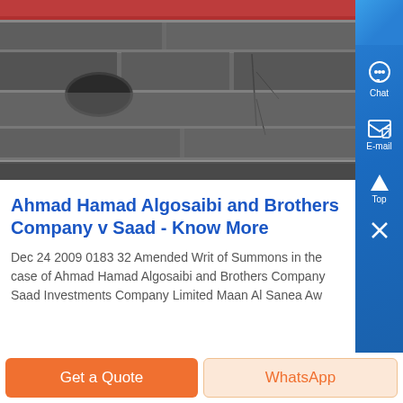[Figure (photo): Photograph of a stone building exterior showing architectural stonework, partially blurred/zoomed. Reddish roof or awning visible at top.]
Ahmad Hamad Algosaibi and Brothers Company … Saad - Know More
Dec 24 2009 0183 32 Amended Writ of Summons in the case of Ahmad Hamad Algosaibi and Brothers Company … Saad Investments Company Limited Maan Al Sanea Aw…
Get a Quote
WhatsApp